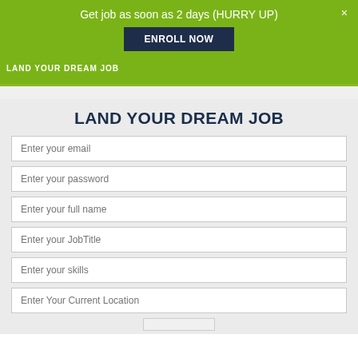Get job as soon as 2 days (HURRY UP)
ENROLL NOW
LAND YOUR DREAM JOB
LAND YOUR DREAM JOB
Enter your email
Enter your password
Enter your full name
Enter your JobTitle
Enter your skills
Enter Your Current Location